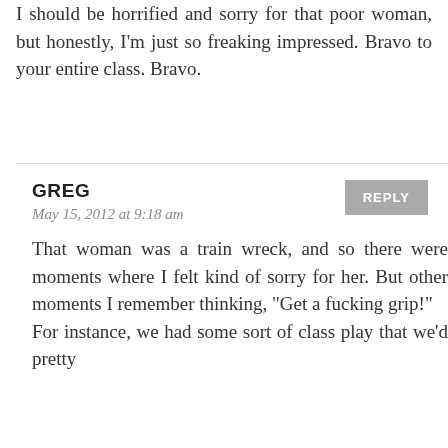I should be horrified and sorry for that poor woman, but honestly, I'm just so freaking impressed. Bravo to your entire class. Bravo.
GREG
May 15, 2012 at 9:18 am
That woman was a train wreck, and so there were moments where I felt kind of sorry for her. But other moments I remember thinking, "Get a fucking grip!" For instance, we had some sort of class play that we'd pretty